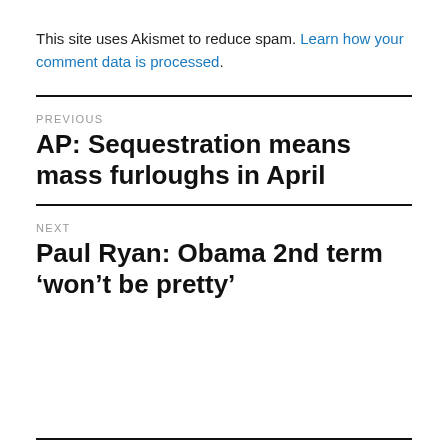This site uses Akismet to reduce spam. Learn how your comment data is processed.
PREVIOUS
AP: Sequestration means mass furloughs in April
NEXT
Paul Ryan: Obama 2nd term ‘won’t be pretty’